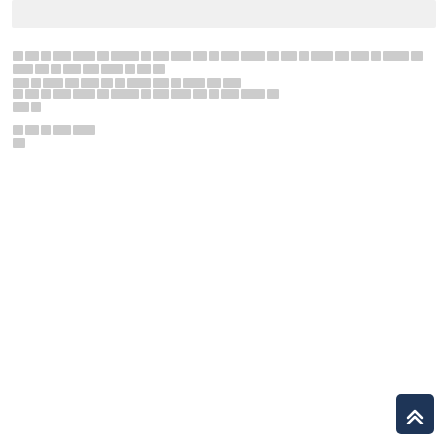[redacted header bar]
[redacted text line 1 - long paragraph]
[redacted text line 2 - medium paragraph]
[redacted text line 3 - short]